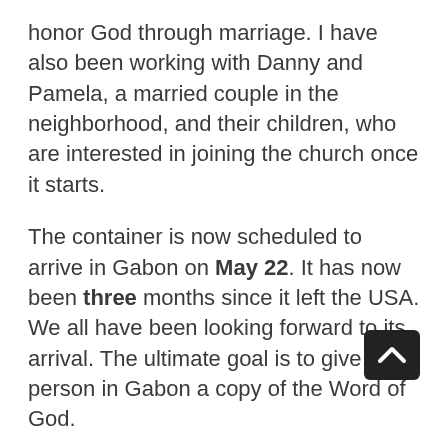honor God through marriage. I have also been working with Danny and Pamela, a married couple in the neighborhood, and their children, who are interested in joining the church once it starts.
The container is now scheduled to arrive in Gabon on May 22. It has now been three months since it left the USA. We all have been looking forward to its arrival. The ultimate goal is to give each person in Gabon a copy of the Word of God.
With the help of two local nurses, we checked people's vital signs (blood pressure, temperature, heart rate, etc.) for five hours on April 18 and met some basic medical needs. Please pray for wisdom and guidance, as we plan to use this in